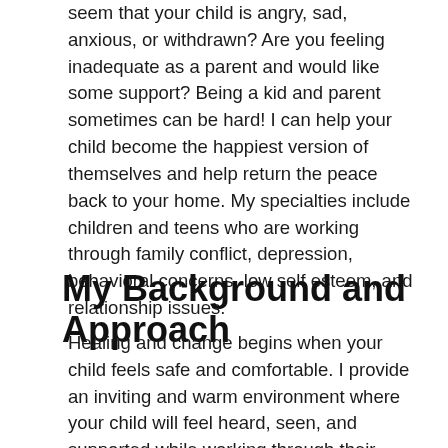seem that your child is angry, sad, anxious, or withdrawn? Are you feeling inadequate as a parent and would like some support? Being a kid and parent sometimes can be hard! I can help your child become the happiest version of themselves and help return the peace back to your home. My specialties include children and teens who are working through family conflict, depression, behavioral concerns, low self esteem, and relationship issues.
My Background and Approach
Healing and change begins when your child feels safe and comfortable. I provide an inviting and warm environment where your child will feel heard, seen, and supported while working through their struggles. Parents are a huge part of my work and I provide support so they can build